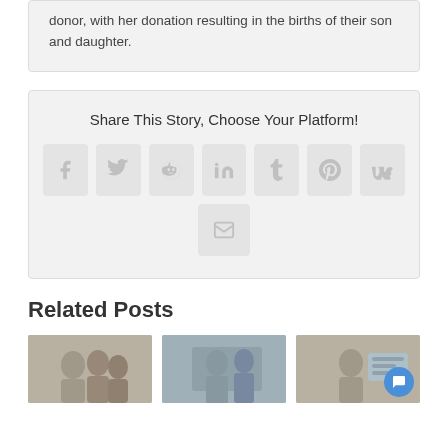donor, with her donation resulting in the births of their son and daughter.
Share This Story, Choose Your Platform!
[Figure (infographic): Row of social media share icon buttons: Facebook, Twitter, Reddit, LinkedIn, Tumblr, Pinterest, VK, and Email (envelope icon)]
Related Posts
[Figure (photo): Three thumbnail images showing people, representing related blog post previews. Third image has a blue chat bubble icon overlay.]